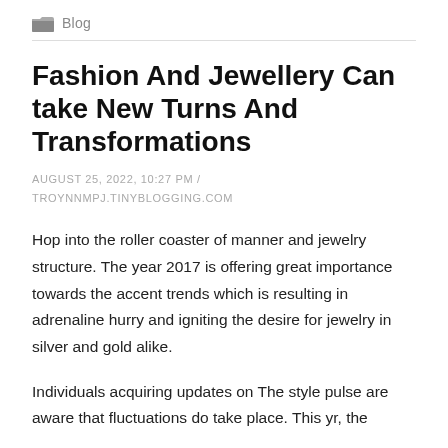Blog
Fashion And Jewellery Can take New Turns And Transformations
AUGUST 25, 2022, 10:27 PM / TROYNNMPJ.TINYBLOGGING.COM
Hop into the roller coaster of manner and jewelry structure. The year 2017 is offering great importance towards the accent trends which is resulting in adrenaline hurry and igniting the desire for jewelry in silver and gold alike.
Individuals acquiring updates on The style pulse are aware that fluctuations do take place. This yr, the